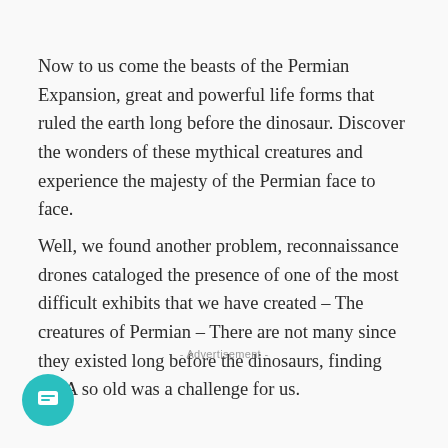Now to us come the beasts of the Permian Expansion, great and powerful life forms that ruled the earth long before the dinosaur. Discover the wonders of these mythical creatures and experience the majesty of the Permian face to face.
Well, we found another problem, reconnaissance drones cataloged the presence of one of the most difficult exhibits that we have created – The creatures of Permian – There are not many since they existed long before the dinosaurs, finding DNA so old was a challenge for us.
- Advertisement -